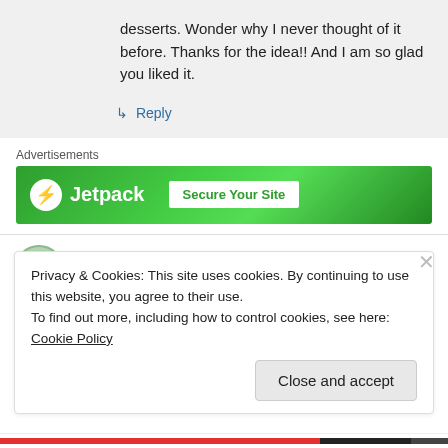desserts. Wonder why I never thought of it before. Thanks for the idea!! And I am so glad you liked it.
↳ Reply
Advertisements
[Figure (screenshot): Jetpack advertisement banner with green background showing Jetpack logo and 'Secure Your Site' call to action]
Ella on May 9, 2012 at 5:12 pm
Privacy & Cookies: This site uses cookies. By continuing to use this website, you agree to their use.
To find out more, including how to control cookies, see here: Cookie Policy
Close and accept